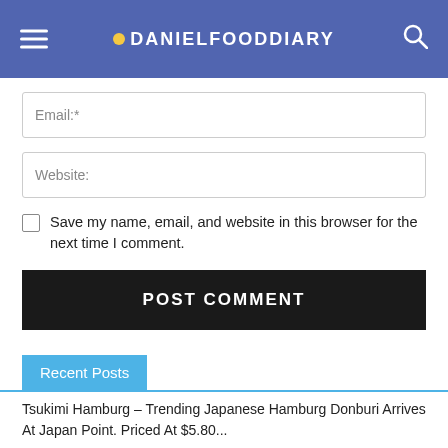DANIELFOODDIARY
Email:*
Website:
Save my name, email, and website in this browser for the next time I comment.
POST COMMENT
Recent Posts
Tsukimi Hamburg – Trending Japanese Hamburg Donburi Arrives At Japan Point. Priced At $5.80...